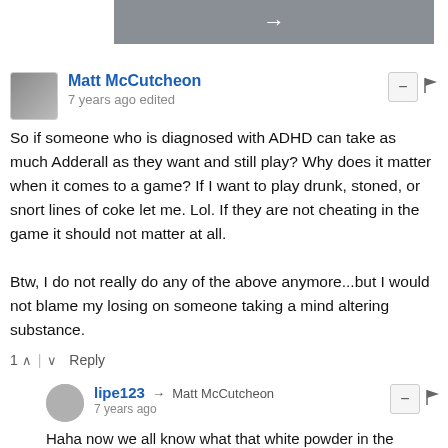[Figure (other): Gray navigation bar with a right-arrow button]
Matt McCutcheon
7 years ago edited

So if someone who is diagnosed with ADHD can take as much Adderall as they want and still play? Why does it matter when it comes to a game? If I want to play drunk, stoned, or snort lines of coke let me. Lol. If they are not cheating in the game it should not matter at all.

Btw, I do not really do any of the above anymore...but I would not blame my losing on someone taking a mind altering substance.
1  Reply
lipe123 → Matt McCutcheon
7 years ago

Haha now we all know what that white powder in the keyboards really is ;)

Totally agree though, the benefits has to be extremely marginal and not an issue at all really when it comes to games. Actual